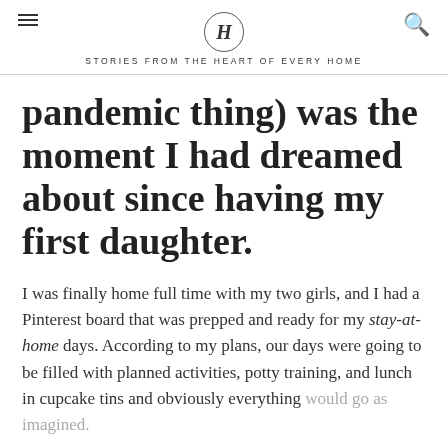H — STORIES FROM THE HEART OF EVERY HOME
pandemic thing) was the moment I had dreamed about since having my first daughter.
I was finally home full time with my two girls, and I had a Pinterest board that was prepped and ready for my stay-at-home days. According to my plans, our days were going to be filled with planned activities, potty training, and lunch in cupcake tins and obviously everything would go as imagined.